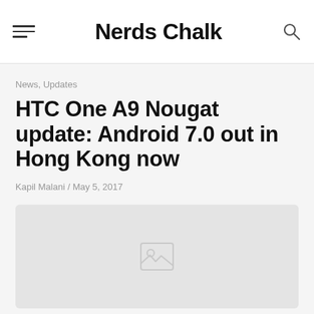Nerds Chalk
News, Updates
HTC One A9 Nougat update: Android 7.0 out in Hong Kong now
Kapil Malani / May 5, 2017
[Figure (photo): Image placeholder for article about HTC One A9 Nougat update]